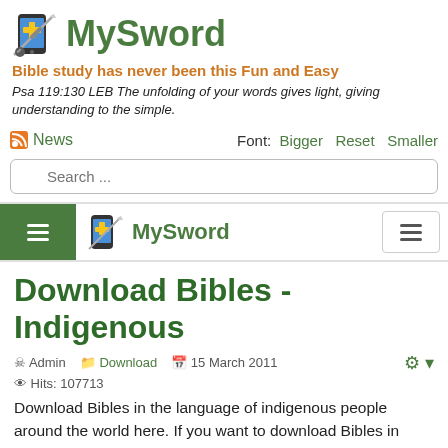[Figure (logo): MySword app logo with smartphone and sword icons]
MySword
Bible study has never been this Fun and Easy
Psa 119:130 LEB The unfolding of your words gives light, giving understanding to the simple.
News   Font: Bigger  Reset  Smaller
Search ...
[Figure (logo): MySword navigation bar with hamburger menus and brand logo]
Download Bibles - Indigenous
Admin  Download  15 March 2011
Hits: 107713
Download Bibles in the language of indigenous people around the world here. If you want to download Bibles in